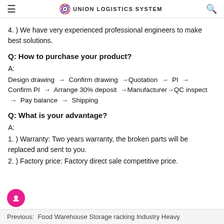≡  UNION LOGISTICS SYSTEM  🔍
4. ) We have very experienced professional engineers to make best solutions.
Q: How to purchase your product?
A:
Design drawing → Confirm drawing →Quotation → PI → Confirm PI → Arrange 30% deposit →Manufacturer→QC inspect → Pay balance → Shipping
Q: What is your advantage?
A:
1. ) Warranty: Two years warranty, the broken parts will be replaced and sent to you.
2. ) Factory price: Factory direct sale competitive price.
Previous:  Food Warehouse Storage racking Industry Heavy